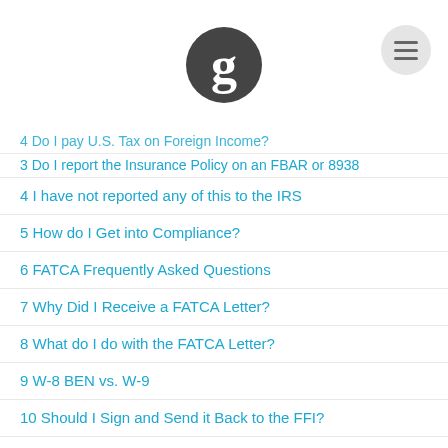Golding & Golding International Tax Lawyers - Table of Contents
4 I have not reported any of this to the IRS
5 How do I Get into Compliance?
6 FATCA Frequently Asked Questions
7 Why Did I Receive a FATCA Letter?
8 What do I do with the FATCA Letter?
9 W-8 BEN vs. W-9
10 Should I Sign and Send it Back to the FFI?
11 What is FATCA Form 8938?
12 How do I File FATCA Form 8938?
13 Foreign Assets but No Foreign Income
14 Threshold Requirements and Asset Values
15 What is Included vs. Excluded on IRS Form 8938
16 Extension of Time to File Form 8938
17 Already Filed a FBAR
18 Foreign Real Estate